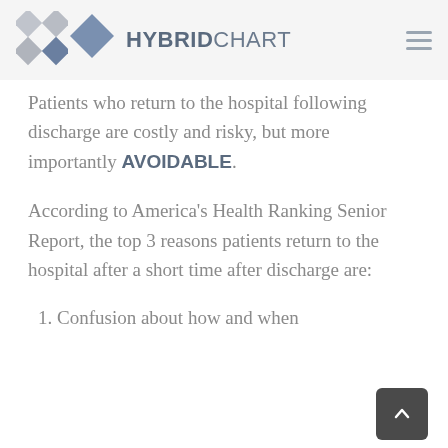HYBRIDCHART
Patients who return to the hospital following discharge are costly and risky, but more importantly AVOIDABLE.
According to America's Health Ranking Senior Report, the top 3 reasons patients return to the hospital after a short time after discharge are:
1. Confusion about how and when